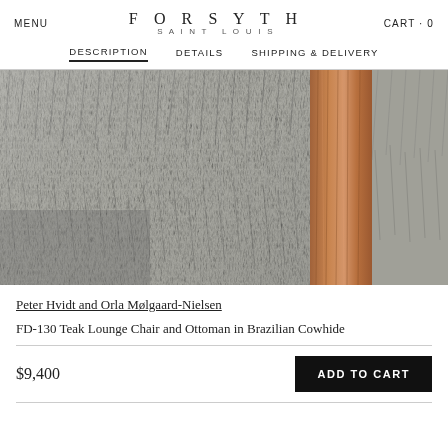MENU   FORSYTH SAINT LOUIS   CART · 0
DESCRIPTION   DETAILS   SHIPPING & DELIVERY
[Figure (photo): Close-up photograph of a Brazilian cowhide chair seat with grey and white fur texture, with a teak wood arm/leg post visible on the right side]
Peter Hvidt and Orla Mølgaard-Nielsen
FD-130 Teak Lounge Chair and Ottoman in Brazilian Cowhide
$9,400
ADD TO CART